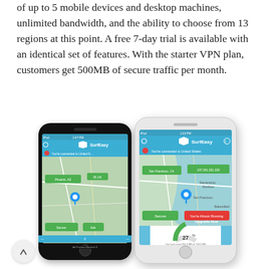of up to 5 mobile devices and desktop machines, unlimited bandwidth, and the ability to choose from 13 regions at this point. A free 7-day trial is available with an identical set of features. With the starter VPN plan, customers get 500MB of secure traffic per month.
[Figure (screenshot): Two smartphones (one black, one white) displaying the SurfEasy VPN app interface showing a map with location pins and connection status indicating 'You're connected to United States'. The white phone shows 27% data usage.]